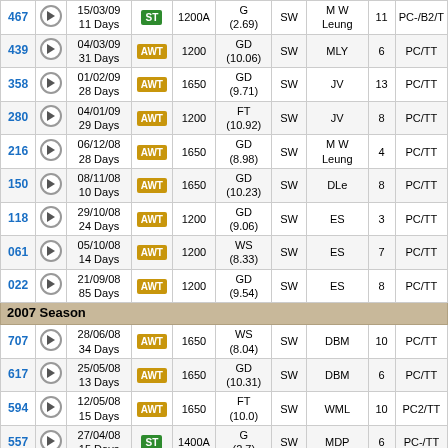| # |  | Date/Days | Type | Dist | Class | Going | Trainer | Run | Result |
| --- | --- | --- | --- | --- | --- | --- | --- | --- | --- |
| 467 | ▶ | 15/03/09
11 Days | ST | 1200A | G (2.69) | SW | M W Leung | 11 | PC-/B2/T |
| 439 | ▶ | 04/03/09
31 Days | AWT | 1200 | GD (10.06) | SW | MLY | 6 | PC/TT |
| 358 | ▶ | 01/02/09
28 Days | AWT | 1650 | GD (9.71) | SW | JV | 13 | PC/TT |
| 280 | ▶ | 04/01/09
29 Days | AWT | 1200 | FT (10.92) | SW | JV | 8 | PC/TT |
| 216 | ▶ | 06/12/08
28 Days | AWT | 1650 | GD (8.98) | SW | M W Leung | 4 | PC/TT |
| 150 | ▶ | 08/11/08
10 Days | AWT | 1650 | GD (10.23) | SW | DLe | 8 | PC/TT |
| 118 | ▶ | 29/10/08
24 Days | AWT | 1200 | GD (9.06) | SW | ES | 3 | PC/TT |
| 061 | ▶ | 05/10/08
14 Days | AWT | 1200 | WS (8.33) | SW | ES | 7 | PC/TT |
| 022 | ▶ | 21/09/08
85 Days | AWT | 1200 | GD (9.54) | SW | ES | 8 | PC/TT |
| 2007 Season |
| 707 | ▶ | 28/06/08
34 Days | AWT | 1650 | WS (8.04) | SW | DBM | 10 | PC/TT |
| 617 | ▶ | 25/05/08
13 Days | AWT | 1650 | GD (10.31) | SW | DBM | 6 | PC/TT |
| 594 | ▶ | 12/05/08
15 Days | AWT | 1650 | FT (10.0) | SW | WML | 10 | PC2/TT |
| 557 | ▶ | 27/04/08
15 Days | ST | 1400A | G (2.7) | SW | MDP | 6 | PC-/TT |